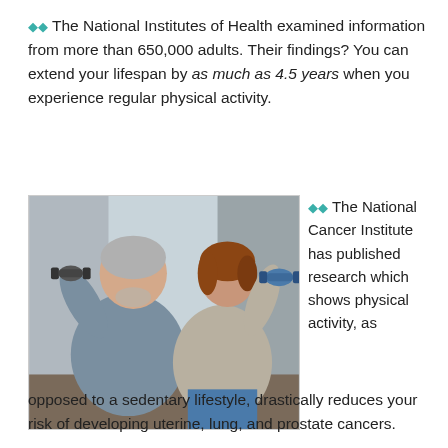◆◆ The National Institutes of Health examined information from more than 650,000 adults. Their findings? You can extend your lifespan by as much as 4.5 years when you experience regular physical activity.
[Figure (photo): Two older adults exercising with dumbbells in a gym setting. An older man with gray hair and beard in a blue t-shirt lifts a dark dumbbell on the left, while a woman with auburn hair in a gray top lifts a blue dumbbell on the right.]
◆◆ The National Cancer Institute has published research which shows physical activity, as opposed to a sedentary lifestyle, drastically reduces your risk of developing uterine, lung, and prostate cancers.